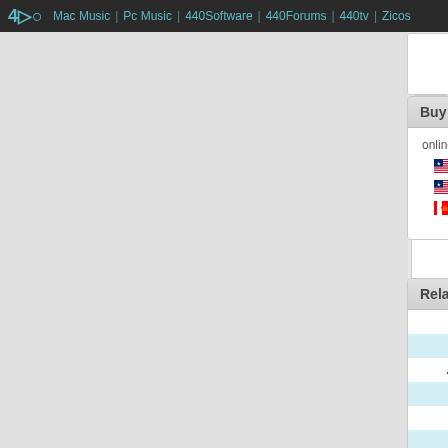440 | Mac Music | Pc Music | 440Software | 440Forums | 440tv | Zicos
Buy New
online at:
AudioMIDI
Plugin Alley LLC
DontCrack
Related ads
| Date | Description |
| --- | --- |
| Mar 5, 2015 | Sell IPhone 6 plus 64Go s... |
| Jan 29, 2015 | Sell IPhone 6 64Go sous g... |
| Aug 22, 2013 | Sell IPod classic 160Go Ap... |
| Dec 9, 2012 | Sell IPhone 5 64Go noir Ap... |
| Feb 28, 2012 | Sell IPhone 4S 64Go Apple... |
| Feb 18, 2012 | Sell IPhone 4S Apple |
| Feb 14, 2012 | Sell IPhone 4 32Go Apple... |
| Nov 12, 2011 | Sell IPhone 4S 64go sous... |
| Jul 30, 2011 | Sell Carte mere G3 bleu bl... |
| Jan 19, 2011 | Sell IPohne 4 32go noir Ap... |
| Oct 25, 2010 | Sell IPhone 4 32Go Apple... |
| Sep 13, 2010 | Sell Iphone 4 Apple |
| Nov 28, 2008 | Sell Studio complet Apple... |
| Dec 17, 2007 | Sell TV 40gb Apple... |